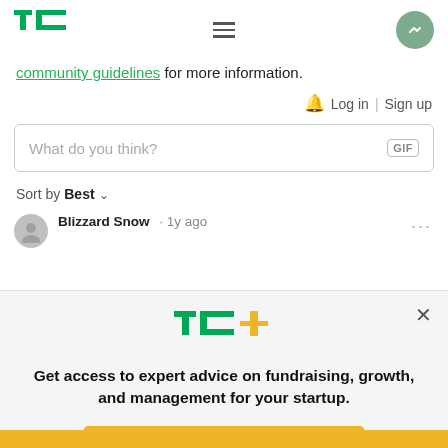TechCrunch header with logo, hamburger menu, and avatar
community guidelines for more information.
🔔 Log in | Sign up
What do you think? GIF
Sort by Best
Blizzard Snow · 1y ago
Get access to expert advice on fundraising, growth, and management for your startup.
EXPLORE NOW